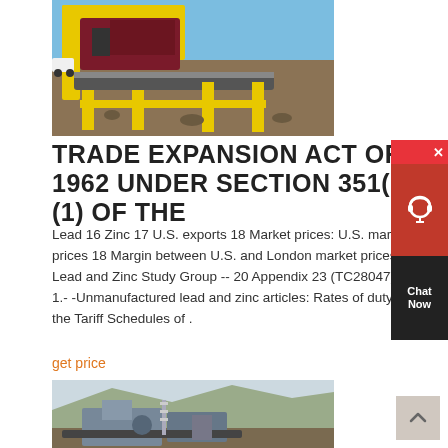[Figure (photo): Industrial mining/crushing equipment with yellow metal framework and conveyor belts on a rocky outdoor site]
TRADE EXPANSION ACT OF 1962 UNDER SECTION 351(D)(1) OF THE
Lead 16 Zinc 17 U.S. exports 18 Market prices: U.S. market prices 18 Margin between U.S. and London market prices 19 The Lead and Zinc Study Group -- 20 Appendix 23 (TC28047) Tables 1.- -Unmanufactured lead and zinc articles: Rates of duty under the Tariff Schedules of .
get price
[Figure (photo): Industrial mining/stone crushing equipment on a mountainous outdoor site, with conveyors and machinery visible]